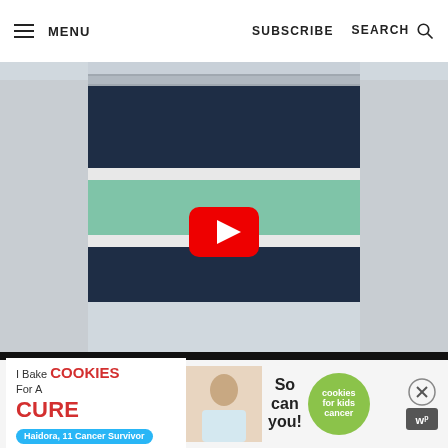MENU  SUBSCRIBE  SEARCH
[Figure (screenshot): Video player thumbnail showing a navy blue and mint/teal striped crochet blanket hanging on a towel rack, with a YouTube play button overlay in the center. The bottom portion is a black bar for video controls.]
[Figure (photo): Advertisement banner: I Bake COOKIES For A CURE - Haidora, 11 Cancer Survivor - So can you! - cookies for kids cancer logo (green circle). Close buttons on the right.]